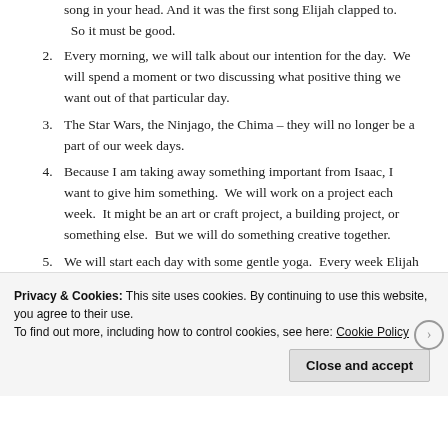song in your head. And it was the first song Elijah clapped to. So it must be good.
Every morning, we will talk about our intention for the day.  We will spend a moment or two discussing what positive thing we want out of that particular day.
The Star Wars, the Ninjago, the Chima – they will no longer be a part of our week days.
Because I am taking away something important from Isaac, I want to give him something.  We will work on a project each week.  It might be an art or craft project, a building project, or something else.  But we will do something creative together.
We will start each day with some gentle yoga.  Every week Elijah and I attend a yoga class.  I might go into that class
Privacy & Cookies: This site uses cookies. By continuing to use this website, you agree to their use.
To find out more, including how to control cookies, see here: Cookie Policy
Close and accept